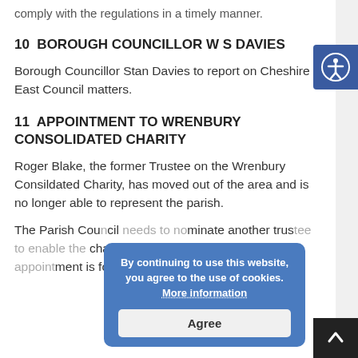comply with the regulations in a timely manner.
10  BOROUGH COUNCILLOR W S DAVIES
Borough Councillor Stan Davies to report on Cheshire East Council matters.
11  APPOINTMENT TO WRENBURY CONSOLIDATED CHARITY
Roger Blake, the former Trustee on the Wrenbury Consildated Charity, has moved out of the area and is no longer able to represent the parish.
The Parish Council needs to nominate another trustee to enable the charity to administer its funds. The appointment is for four-years.